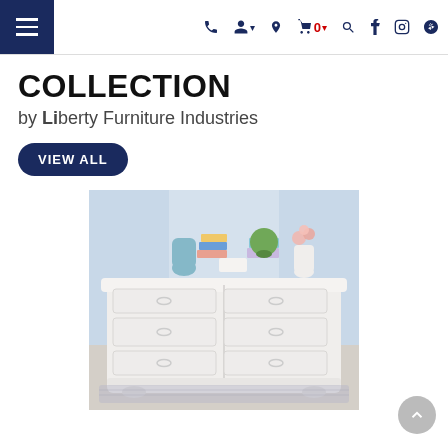Navigation bar with hamburger menu, phone, account, location, cart (0), search, Facebook, Instagram, Yelp icons
COLLECTION
by Liberty Furniture Industries
VIEW ALL
[Figure (photo): White 6-drawer dresser with decorative items on top including books, vases with flowers, and a green plant, displayed in a light blue room setting]